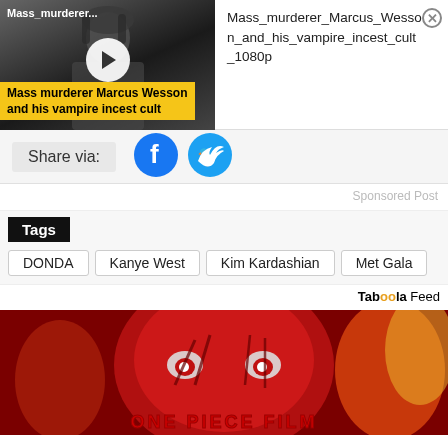[Figure (screenshot): Video thumbnail showing a grayscale person with 'Mass_murderer...' label and yellow-background caption 'Mass murderer Marcus Wesson and his vampire incest cult']
Mass_murderer_Marcus_Wesson_and_his_vampire_incest_cult_1080p
Share via:
[Figure (logo): Facebook circular blue icon]
[Figure (logo): Twitter circular blue icon]
Sponsored Post
Tags
DONDA
Kanye West
Kim Kardashian
Met Gala
Taboola Feed
[Figure (illustration): Red anime character face from One Piece Film, intense expression with flames in background. Text at bottom: ONE PIECE FILM]